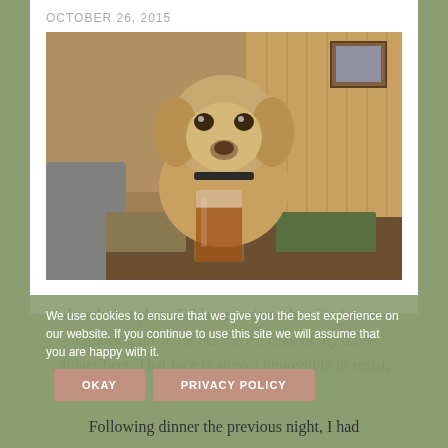OCTOBER 26, 2015
[Figure (photo): A beagle dog sitting at a table with a glass of beer in the foreground, looking at the camera with an imploring expression, indoors with wood-paneled walls]
I took that photo Friday evening when Darla was imploring me to let her have a taste of my after-dinner beer. That face is almost impossible to resist, but resist I did.
We use cookies to ensure that we give you the best experience on our website. If you continue to use this site we will assume that you are happy with it.
OKAY    PRIVACY POLICY
Following dinner the previous night, I had